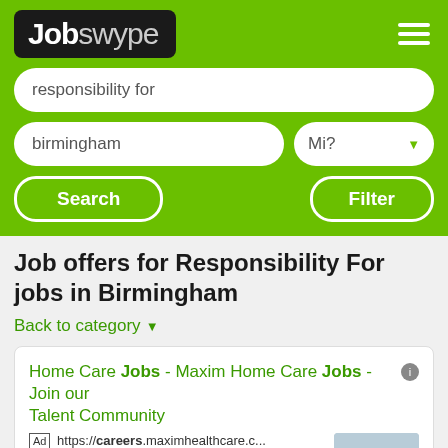[Figure (logo): Jobswype logo in black rounded rectangle with green background navigation bar]
responsibility for
birmingham
Mi? ▼
Search
Filter
Job offers for Responsibility For jobs in Birmingham
Back to category ▼
Home Care Jobs - Maxim Home Care Jobs - Join our Talent Community
Ad https://careers.maximhealthcare.c...
Personalized job opportunities for all members of our talent community
Home Healthcare Jobs